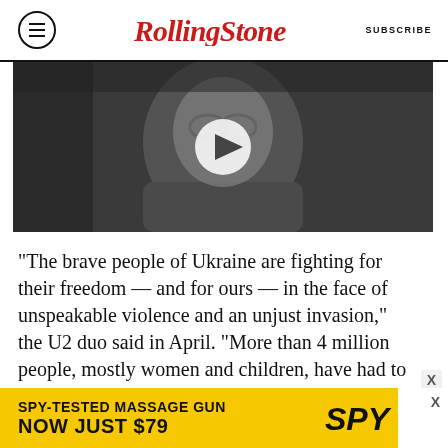Rolling Stone  SUBSCRIBE
[Figure (photo): A man with glasses and a beard smiling, appears to be a video thumbnail with a play button overlay]
“The brave people of Ukraine are fighting for their freedom — and for ours — in the face of unspeakable violence and an unjust invasion,” the U2 duo said in April. “More than 4 million people, mostly women and children, have had to flee for their lives — a population nearly the size of Ireland. World leaders must stand up and stand by Ukrainians now … those who are fighting and
[Figure (infographic): Advertisement banner: SPY-TESTED MASSAGE GUN NOW JUST $79 with SPY logo on yellow background]